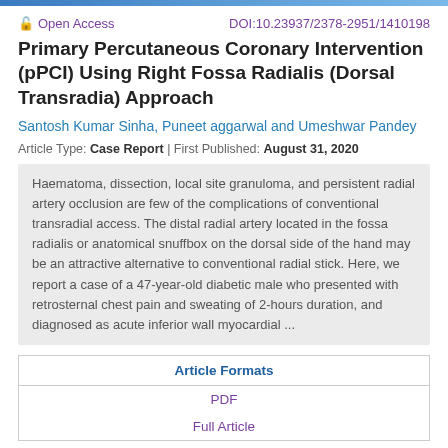Open Access | DOI:10.23937/2378-2951/1410198
Primary Percutaneous Coronary Intervention (pPCI) Using Right Fossa Radialis (Dorsal Transradia) Approach
Santosh Kumar Sinha, Puneet aggarwal and Umeshwar Pandey
Article Type: Case Report | First Published: August 31, 2020
Haematoma, dissection, local site granuloma, and persistent radial artery occlusion are few of the complications of conventional transradial access. The distal radial artery located in the fossa radialis or anatomical snuffbox on the dorsal side of the hand may be an attractive alternative to conventional radial stick. Here, we report a case of a 47-year-old diabetic male who presented with retrosternal chest pain and sweating of 2-hours duration, and diagnosed as acute inferior wall myocardial ...
| Article Formats |
| --- |
| PDF |
| Full Article |